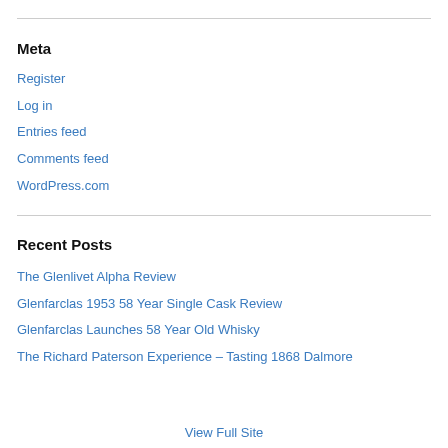Meta
Register
Log in
Entries feed
Comments feed
WordPress.com
Recent Posts
The Glenlivet Alpha Review
Glenfarclas 1953 58 Year Single Cask Review
Glenfarclas Launches 58 Year Old Whisky
The Richard Paterson Experience – Tasting 1868 Dalmore
View Full Site